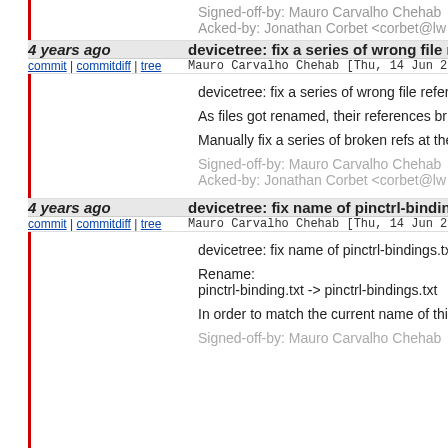Signed-off-by: Mauro Carvalho Chehab
Acked-by: Jonathan Corbet <corbet@lw
4 years ago — devicetree: fix a series of wrong file re
commit | commitdiff | tree   Mauro Carvalho Chehab [Thu, 14 Jun 20
devicetree: fix a series of wrong file refer
As files got renamed, their references br
Manually fix a series of broken refs at the
Signed-off-by: Mauro Carvalho Chehab
Acked-by: Jonathan Corbet <corbet@lw
4 years ago — devicetree: fix name of pinctrl-binding
commit | commitdiff | tree   Mauro Carvalho Chehab [Thu, 14 Jun 20
devicetree: fix name of pinctrl-bindings.tx
Rename:
pinctrl-binding.txt -> pinctrl-bindings.txt
In order to match the current name of thi
Signed-off-by: Mauro Carvalho Chehab